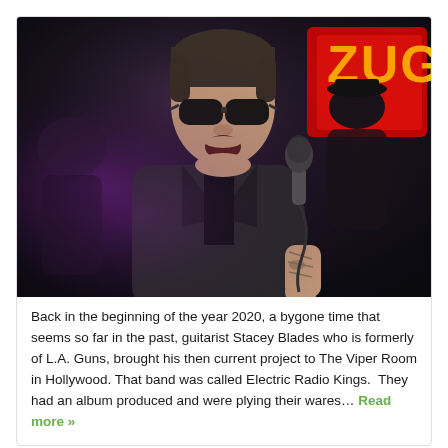[Figure (photo): A male singer wearing dark sunglasses and a dark blazer performing on stage, holding a microphone close to his mouth. His forearms show tattoos. A red neon sign is visible in the background on the right, and another performer wearing a hat is visible behind him. Stage lighting creates purple/magenta tones.]
Back in the beginning of the year 2020, a bygone time that seems so far in the past, guitarist Stacey Blades who is formerly of L.A. Guns, brought his then current project to The Viper Room in Hollywood. That band was called Electric Radio Kings.  They had an album produced and were plying their wares… Read more »